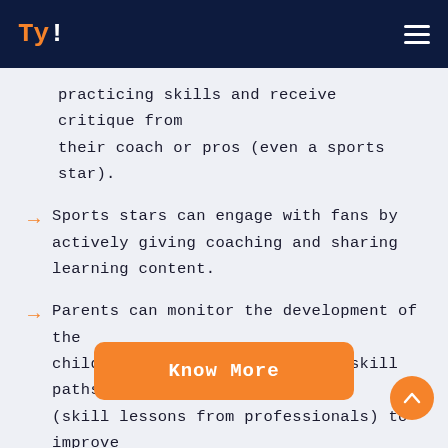TY! [logo] [hamburger menu]
practicing skills and receive critique from their coach or pros (even a sports star).
Sports stars can engage with fans by actively giving coaching and sharing learning content.
Parents can monitor the development of the child and gift them additional skill paths (skill lessons from professionals) to improve their skills.
Know More